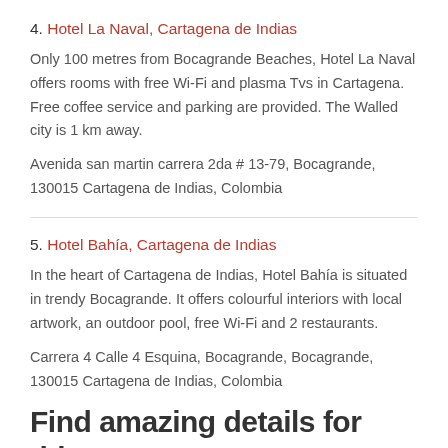4. Hotel La Naval, Cartagena de Indias
Only 100 metres from Bocagrande Beaches, Hotel La Naval offers rooms with free Wi-Fi and plasma Tvs in Cartagena. Free coffee service and parking are provided. The Walled city is 1 km away.
Avenida san martin carrera 2da # 13-79, Bocagrande, 130015 Cartagena de Indias, Colombia
5. Hotel Bahía, Cartagena de Indias
In the heart of Cartagena de Indias, Hotel Bahía is situated in trendy Bocagrande. It offers colourful interiors with local artwork, an outdoor pool, free Wi-Fi and 2 restaurants.
Carrera 4 Calle 4 Esquina, Bocagrande, Bocagrande, 130015 Cartagena de Indias, Colombia
Find amazing details for this